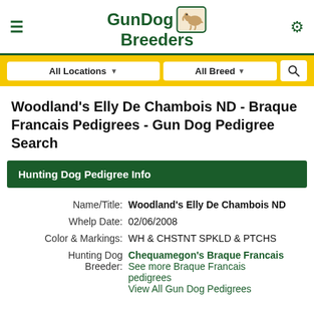GunDog Breeders
Woodland's Elly De Chambois ND - Braque Francais Pedigrees - Gun Dog Pedigree Search
Hunting Dog Pedigree Info
Name/Title: Woodland's Elly De Chambois ND
Whelp Date: 02/06/2008
Color & Markings: WH & CHSTNT SPKLD & PTCHS
Hunting Dog Breeder: Chequamegon's Braque Francais
See more Braque Francais pedigrees
View All Gun Dog Pedigrees